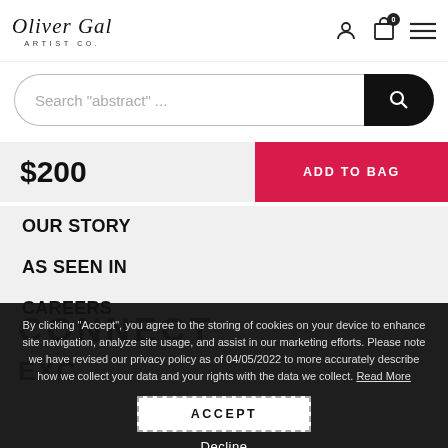Oliver Gal ARTIST Co.
Search "abstract" ...
$200
ADD TO BAG
OUR STORY
AS SEEN IN
CAREERS
CONNECT
EXC
By clicking "Accept", you agree to the storing of cookies on your device to enhance site navigation, analyze site usage, and assist in our marketing efforts. Please note we have revised our privacy policy as of 04/05/2022 to more accurately describe how we collect your data and your rights with the data we collect. Read More
ACCEPT
Decline